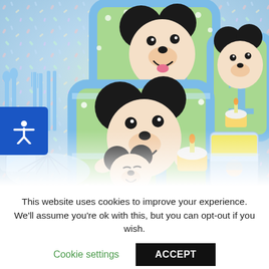[Figure (photo): Mickey Mouse 1st birthday party supplies set including plates, cups, napkins, and blue plastic cutlery with baby Mickey Mouse illustrations and the number 1 on a green and blue striped background with polka dots]
This website uses cookies to improve your experience. We'll assume you're ok with this, but you can opt-out if you wish.
Cookie settings
ACCEPT